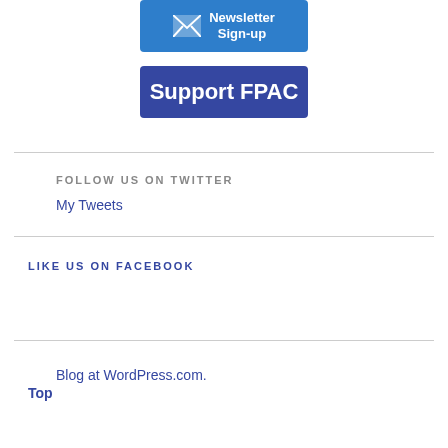[Figure (other): Newsletter Sign-up button with envelope icon, blue background]
[Figure (other): Support FPAC button, dark blue background]
FOLLOW US ON TWITTER
My Tweets
LIKE US ON FACEBOOK
Blog at WordPress.com.
Top